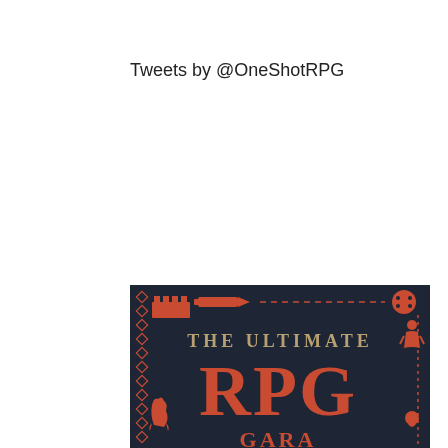Tweets by @OneShotRPG
[Figure (illustration): Broken image icon placeholder (small document icon with green corner)]
[Figure (photo): Bottom portion of a dark navy book cover titled 'THE ULTIMATE RPG' with large red retro lettering and RPG-themed icons (castle, pencil, dice, character figure) on a dark background. The word GARAGE or similar appears partially at the bottom.]